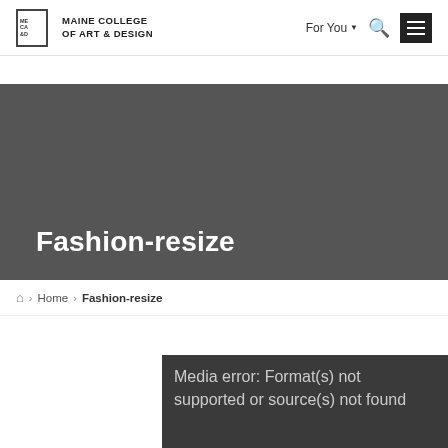Maine College of Art & Design — For You | Search | Menu
Fashion-resize
Home > Fashion-resize
Media error: Format(s) not supported or source(s) not found